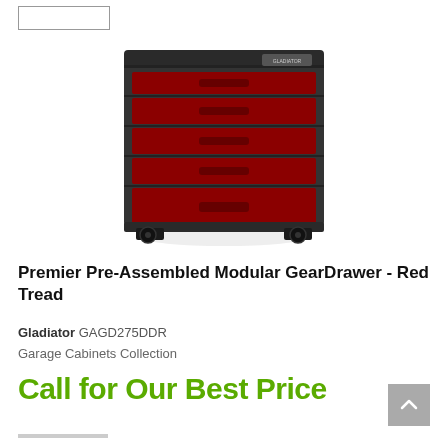[Figure (photo): A red and dark gray Gladiator Premier Pre-Assembled Modular GearDrawer rolling tool cabinet with 5 red drawers on black caster wheels]
Premier Pre-Assembled Modular GearDrawer - Red Tread
Gladiator GAGD275DDR
Garage Cabinets Collection
Call for Our Best Price